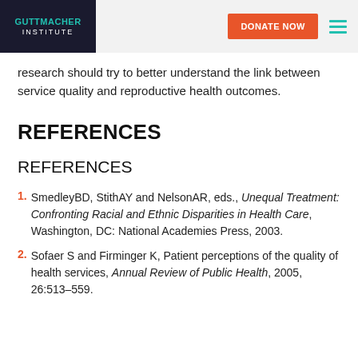GUTTMACHER INSTITUTE | DONATE NOW
research should try to better understand the link between service quality and reproductive health outcomes.
REFERENCES
REFERENCES
1. SmedleyBD, StithAY and NelsonAR, eds., Unequal Treatment: Confronting Racial and Ethnic Disparities in Health Care, Washington, DC: National Academies Press, 2003.
2. Sofaer S and Firminger K, Patient perceptions of the quality of health services, Annual Review of Public Health, 2005, 26:513–559.